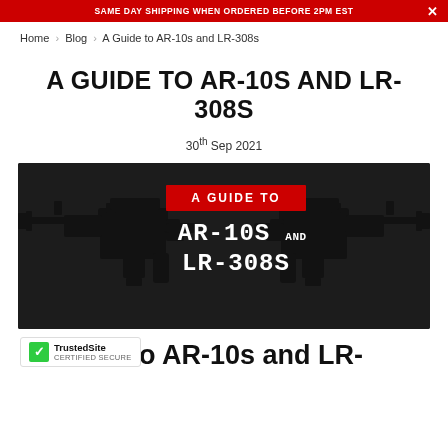SAME DAY SHIPPING WHEN ORDERED BEFORE 2PM EST
Home > Blog > A Guide to AR-10s and LR-308s
A GUIDE TO AR-10S AND LR-308S
30th Sep 2021
[Figure (photo): Dark background hero image showing two AR-style rifles facing each other with text overlay reading 'A GUIDE TO AR-10S AND LR-308S' on red and white labels]
A Guide to AR-10s and LR-